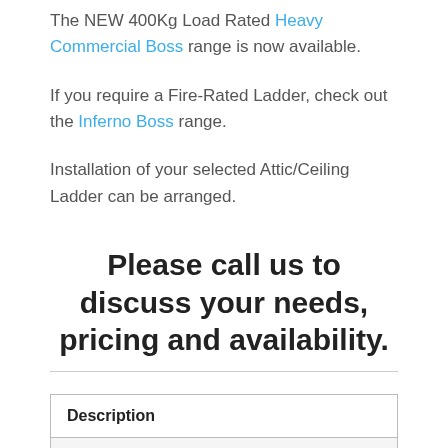The NEW 400Kg Load Rated Heavy Commercial Boss range is now available.
If you require a Fire-Rated Ladder, check out the Inferno Boss range.
Installation of your selected Attic/Ceiling Ladder can be arranged.
Please call us to discuss your needs, pricing and availability.
| Description |
| --- |
| Additional information |
|  |